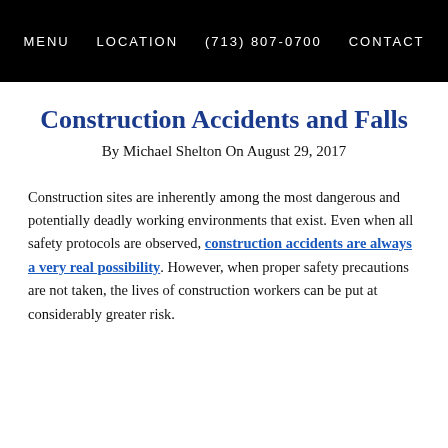MENU   LOCATION   (713) 807-0700   CONTACT
Construction Accidents and Falls
By Michael Shelton On August 29, 2017
Construction sites are inherently among the most dangerous and potentially deadly working environments that exist. Even when all safety protocols are observed, construction accidents are always a very real possibility. However, when proper safety precautions are not taken, the lives of construction workers can be put at considerably greater risk.